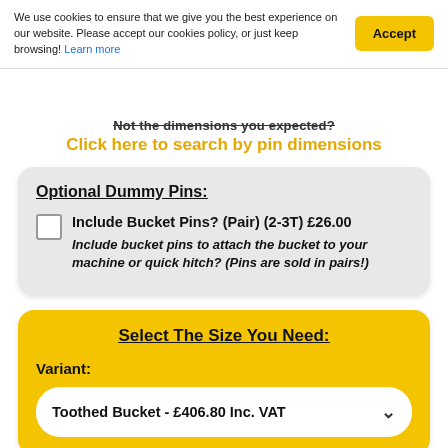We use cookies to ensure that we give you the best experience on our website. Please accept our cookies policy, or just keep browsing! Learn more
Accept
Not the dimensions you expected?
Click here to search by pin dimensions
Optional Dummy Pins:
Include Bucket Pins? (Pair) (2-3T) £26.00
Include bucket pins to attach the bucket to your machine or quick hitch? (Pins are sold in pairs!)
Select The Size You Need:
Variant:
Toothed Bucket - £406.80 Inc. VAT